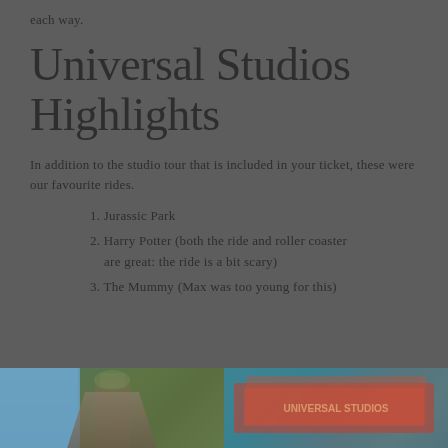each way.
Universal Studios Highlights
In addition to the studio tour that is included in your ticket, these were our favourite rides.
1. Jurassic Park
2. Harry Potter (both the ride and roller coaster are great: the ride is a bit scary)
3. The Mummy (Max was too young for this)
[Figure (photo): Two side-by-side photos from Universal Studios: left photo shows a tall structure/ride with greenery, right photo shows a colorful Universal Studios sign/logo area with teal and red colors]